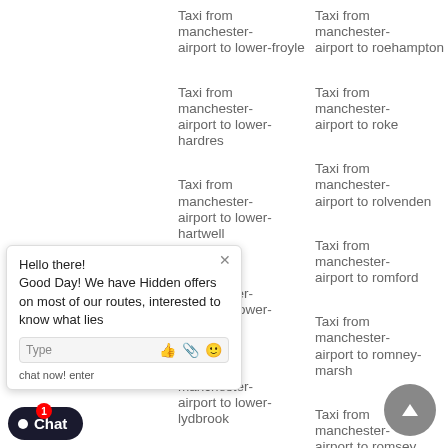Taxi from manchester-airport to lower-froyle
Taxi from manchester-airport to roehampton
Taxi from manchester-airport to lower-hardres
Taxi from manchester-airport to roke
Taxi from manchester-airport to lower-hartwell
Taxi from manchester-airport to rolvenden
Taxi from manchester-airport to lower-heyford
Taxi from manchester-airport to romford
Taxi from manchester-airport to lower-lydbrook
Taxi from manchester-airport to romney-marsh
Taxi from manchester-airport to lower-
Taxi from manchester-airport to romsey